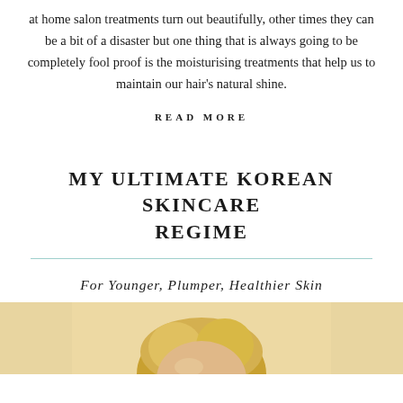at home salon treatments turn out beautifully, other times they can be a bit of a disaster but one thing that is always going to be completely fool proof is the moisturising treatments that help us to maintain our hair's natural shine.
READ MORE
MY ULTIMATE KOREAN SKINCARE REGIME
For Younger, Plumper, Healthier Skin
[Figure (photo): Bottom portion of a woman's face/head with blonde hair, cropped at neck, on a warm beige/cream background]